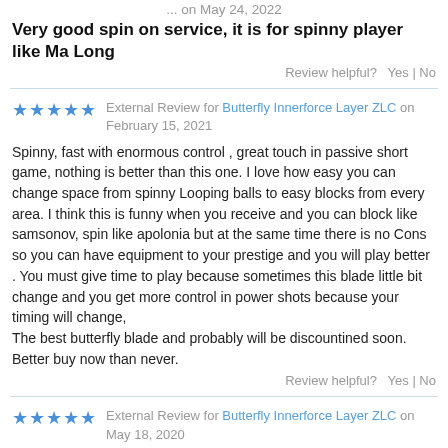... on May 24, 2022
Very good spin on service, it is for spinny player like Ma Long
Review helpful?  Yes | No
External Review for Butterfly Innerforce Layer ZLC on February 15, 2021
Spinny, fast with enormous control , great touch in passive short game, nothing is better than this one. I love how easy you can change space from spinny Looping balls to easy blocks from every area. I think this is funny when you receive and you can block like samsonov, spin like apolonia but at the same time there is no Cons so you can have equipment to your prestige and you will play better . You must give time to play because sometimes this blade little bit change and you get more control in power shots because your timing will change,
The best butterfly blade and probably will be discountined soon. Better buy now than never.
Review helpful?  Yes | No
External Review for Butterfly Innerforce Layer ZLC on May 18, 2020
9.5/10 for OFF+ style FH: Butterfly Dignics 09c 8.4    ... 47 ...